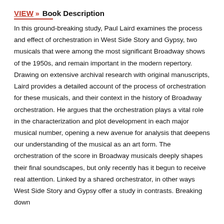VIEW » Book Description
In this ground-breaking study, Paul Laird examines the process and effect of orchestration in West Side Story and Gypsy, two musicals that were among the most significant Broadway shows of the 1950s, and remain important in the modern repertory. Drawing on extensive archival research with original manuscripts, Laird provides a detailed account of the process of orchestration for these musicals, and their context in the history of Broadway orchestration. He argues that the orchestration plays a vital role in the characterization and plot development in each major musical number, opening a new avenue for analysis that deepens our understanding of the musical as an art form. The orchestration of the score in Broadway musicals deeply shapes their final soundscapes, but only recently has it begun to receive real attention. Linked by a shared orchestrator, in other ways West Side Story and Gypsy offer a study in contrasts. Breaking down